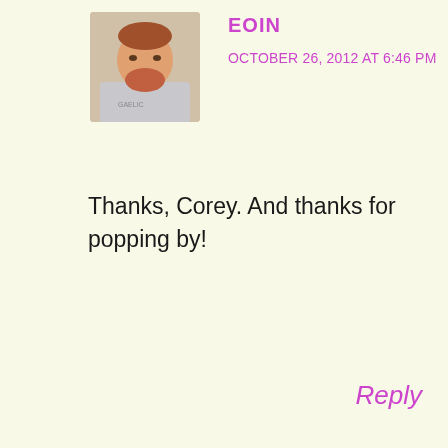[Figure (photo): Avatar photo of a young man with red hair and beard wearing a grey t-shirt]
EOIN
OCTOBER 26, 2012 AT 6:46 PM
Thanks, Corey. And thanks for popping by!
Reply
Manage Cookie Consent
We use cookies to optimise our website and our service.
All cookies
Deny